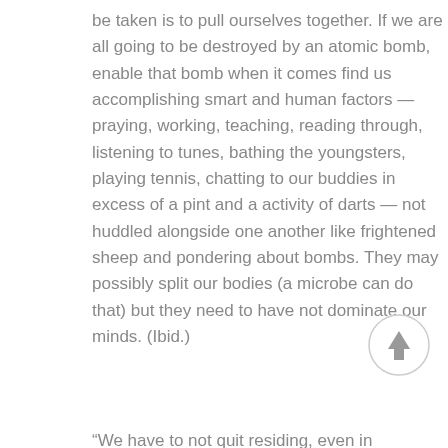be taken is to pull ourselves together. If we are all going to be destroyed by an atomic bomb, enable that bomb when it comes find us accomplishing smart and human factors — praying, working, teaching, reading through, listening to tunes, bathing the youngsters, playing tennis, chatting to our buddies in excess of a pint and a activity of darts — not huddled alongside one another like frightened sheep and pondering about bombs. They may possibly split our bodies (a microbe can do that) but they need to have not dominate our minds. (Ibid.)
[Figure (other): A circular scroll-to-top button with an upward-pointing arrow, light gray border and white background.]
“We have to not quit residing, even in